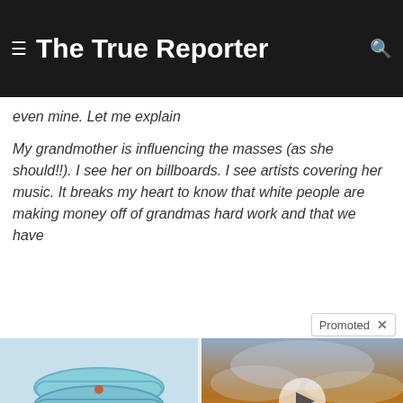The True Reporter
while she was here on this earth, even through a bitter past. I see she considered herself to be her grandchild. But I feel separated from my legacy. As if it isn't even mine. Let me explain
My grandmother is influencing the masses (as she should!!). I see her on billboards. I see artists covering her music. It breaks my heart to know that white people are making money off of grandmas hard work and that we have
[Figure (photo): Photo of light blue dog collar rings stacked together]
Treat ED With Eddie — The Proven, Comfortable Wearable That Comes With A Satisfaction Guarantee
166,519
[Figure (photo): Video thumbnail of dramatic sky with golden clouds, showing a play button]
Everyone Who Believes In God Should Watch This. It Will Blow Your Mind
65,645